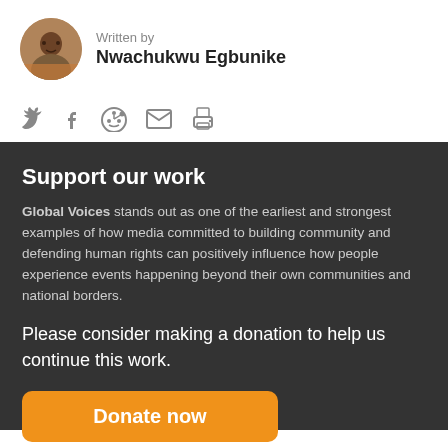[Figure (photo): Circular avatar photo of Nwachukwu Egbunike]
Written by
Nwachukwu Egbunike
[Figure (infographic): Social sharing icons: Twitter, Facebook, Reddit, Email, Print]
Support our work
Global Voices stands out as one of the earliest and strongest examples of how media committed to building community and defending human rights can positively influence how people experience events happening beyond their own communities and national borders.
Please consider making a donation to help us continue this work.
Donate now